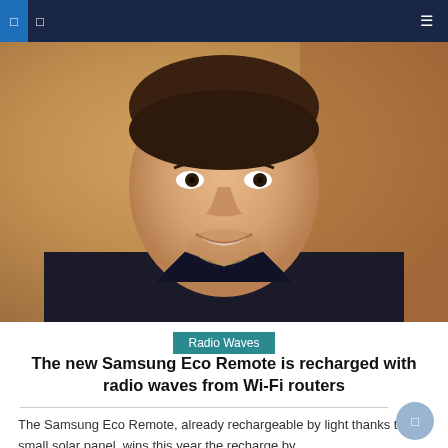Navigation bar with icons
[Figure (photo): Close-up photo of a smiling young man with dark hair and light stubble, wearing a dark jacket, against a blurred brown/orange background]
Radio Waves
The new Samsung Eco Remote is recharged with radio waves from Wi-Fi routers
The Samsung Eco Remote, already rechargeable by light thanks to a small solar panel, wins this year the recharge by